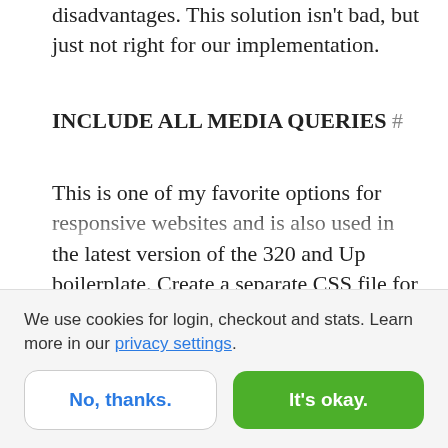disadvantages. This solution isn't bad, but just not right for our implementation.
INCLUDE ALL MEDIA QUERIES #
This is one of my favorite options for responsive websites and is also used in the latest version of the 320 and Up boilerplate. Create a separate CSS file for each device width; and for IE, serve them all to the user, with no media queries. With a mobile-first approach and a couple of fixed widths in your IE style
We use cookies for login, checkout and stats. Learn more in our privacy settings.
No, thanks.
It's okay.